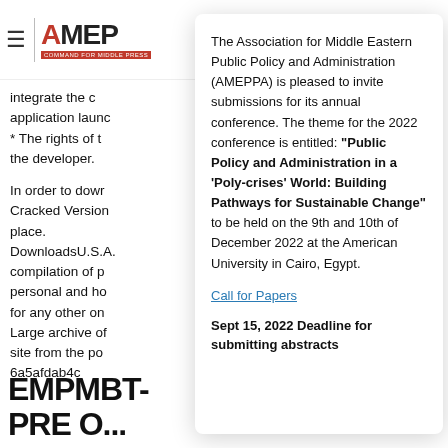≡ | AMEPPA [logo]
integrate the c application launc
* The rights of t the developer.

In order to dowr Cracked Version place.
DownloadsU.S.A. compilation of p personal and ho for any other on Large archive of site from the po 6a5afdab4c
The Association for Middle Eastern Public Policy and Administration (AMEPPA) is pleased to invite submissions for its annual conference. The theme for the 2022 conference is entitled: "Public Policy and Administration in a 'Poly-crises' World: Building Pathways for Sustainable Change" to be held on the 9th and 10th of December 2022 at the American University in Cairo, Egypt.
Call for Papers
Sept 15, 2022 Deadline for submitting abstracts
EMPMB T-PRE O...